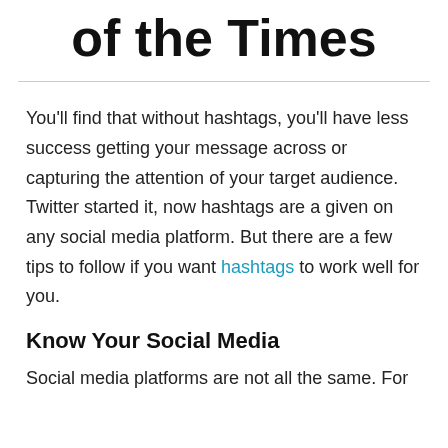of the Times
You'll find that without hashtags, you'll have less success getting your message across or capturing the attention of your target audience. Twitter started it, now hashtags are a given on any social media platform. But there are a few tips to follow if you want hashtags to work well for you.
Know Your Social Media
Social media platforms are not all the same. For